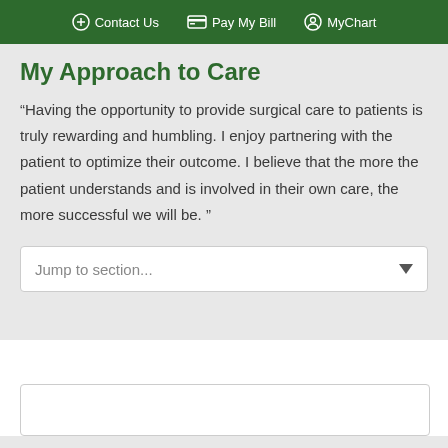Contact Us  Pay My Bill  MyChart
My Approach to Care
“Having the opportunity to provide surgical care to patients is truly rewarding and humbling. I enjoy partnering with the patient to optimize their outcome. I believe that the more the patient understands and is involved in their own care, the more successful we will be. ”